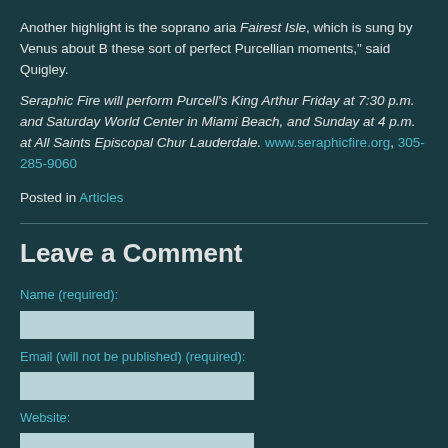Another highlight is the soprano aria Fairest Isle, which is sung by Venus about B these sort of perfect Purcellian moments," said Quigley.
Seraphic Fire will perform Purcell's King Arthur Friday at 7:30 p.m. and Saturday World Center in Miami Beach, and Sunday at 4 p.m. at All Saints Episcopal Chur Lauderdale. www.seraphicfire.org, 305-285-9060
Posted in Articles
Leave a Comment
Name (required):
Email (will not be published) (required):
Website:
Message: